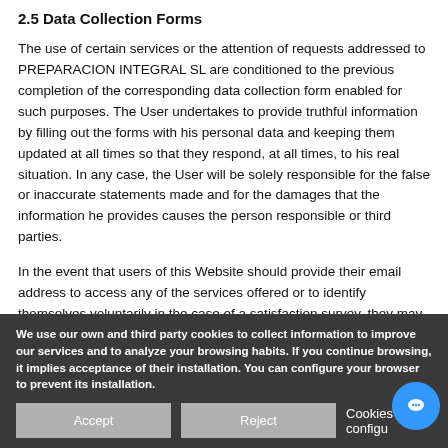2.5 Data Collection Forms
The use of certain services or the attention of requests addressed to PREPARACION INTEGRAL SL are conditioned to the previous completion of the corresponding data collection form enabled for such purposes. The User undertakes to provide truthful information by filling out the forms with his personal data and keeping them updated at all times so that they respond, at all times, to his real situation. In any case, the User will be solely responsible for the false or inaccurate statements made and for the damages that the information he provides causes the person responsible or third parties.
In the event that users of this Website should provide their email address to access any of the services offered or to identify themselves voluntarily in the case of a satisfaction survey, they may state that they do not wish to receive any type of communication, provided that it is
We use our own and third party cookies to collect information to improve our services and to analyze your browsing habits. If you continue browsing, it implies acceptance of their installation. You can configure your browser to prevent its installation.